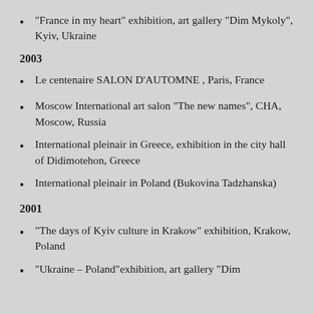“France in my heart” exhibition, art gallery “Dim Mykoly”, Kyiv, Ukraine
2003
Le centenaire SALON D’AUTOMNE , Paris, France
Moscow International art salon “The new names”, CHA, Moscow, Russia
International pleinair in Greece, exhibition in the city hall of Didimotehon, Greece
International pleinair in Poland (Bukovina Tadzhanska)
2001
“The days of Kyiv culture in Krakow” exhibition, Krakow, Poland
“Ukraine – Poland” exhibition, art gallery “Dim